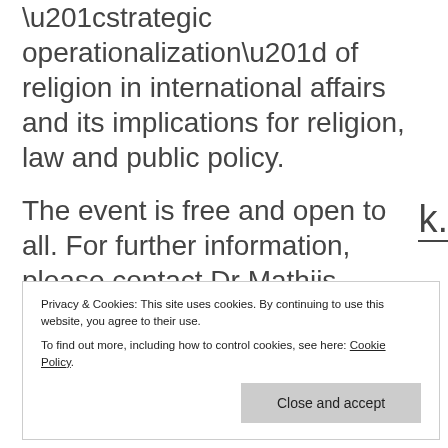“strategic operationalization” of religion in international affairs and its implications for religion, law and public policy.
The event is free and open to all. For further information, please contact Dr Mathiis
Privacy & Cookies: This site uses cookies. By continuing to use this website, you agree to their use. To find out more, including how to control cookies, see here: Cookie Policy
Close and accept